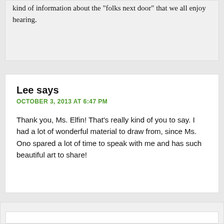kind of information about the "folks next door" that we all enjoy hearing.
Lee says
OCTOBER 3, 2013 AT 6:47 PM

Thank you, Ms. Elfin! That's really kind of you to say. I had a lot of wonderful material to draw from, since Ms. Ono spared a lot of time to speak with me and has such beautiful art to share!